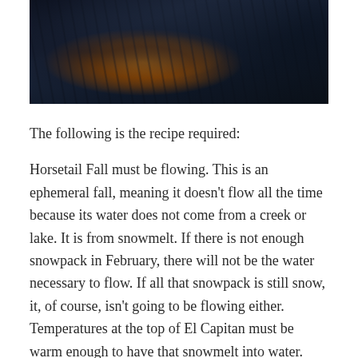[Figure (photo): Dark nighttime/dusk outdoor photo showing silhouetted trees against a dark blue sky, with an orange/amber glow visible through the trees in the center, likely a fire or sunset.]
The following is the recipe required:
Horsetail Fall must be flowing. This is an ephemeral fall, meaning it doesn't flow all the time because its water does not come from a creek or lake. It is from snowmelt. If there is not enough snowpack in February, there will not be the water necessary to flow. If all that snowpack is still snow, it, of course, isn't going to be flowing either. Temperatures at the top of El Capitan must be warm enough to have that snowmelt into water.
And for the fire, the western sky needs to be